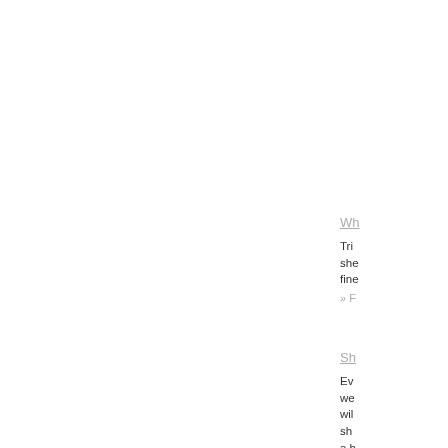Wh
Tri she fine
» F
Sh
Ev we wil sh a h
» F